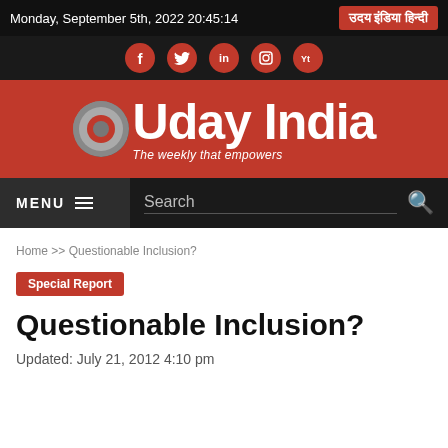Monday, September 5th, 2022 20:45:14
[Figure (logo): Uday India Hindi button in red]
[Figure (infographic): Social media icons: Facebook, Twitter, LinkedIn, Instagram, YouTube in red circles on dark background]
[Figure (logo): Uday India logo with red background, circular emblem, white bold text 'Uday India' and italic tagline 'The weekly that empowers']
MENU
Search
Home >> Questionable Inclusion?
Special Report
Questionable Inclusion?
Updated: July 21, 2012 4:10 pm